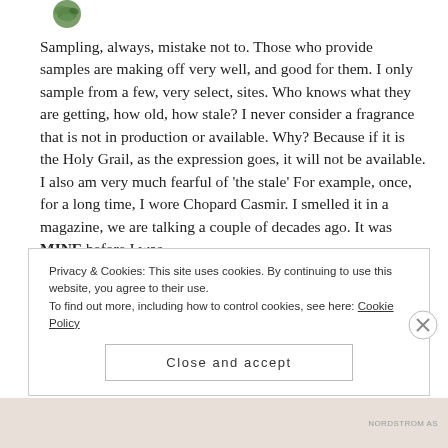[Figure (photo): Small circular avatar photo showing a green leafy image, partially visible at top]
Sampling, always, mistake not to. Those who provide samples are making off very well, and good for them. I only sample from a few, very select, sites. Who knows what they are getting, how old, how stale? I never consider a fragrance that is not in production or available. Why? Because if it is the Holy Grail, as the expression goes, it will not be available. I also am very much fearful of 'the stale' For example, once, for a long time, I wore Chopard Casmir. I smelled it in a magazine, we are talking a couple of decades ago. It was MINE before I was
Privacy & Cookies: This site uses cookies. By continuing to use this website, you agree to their use.
To find out more, including how to control cookies, see here: Cookie Policy
Close and accept